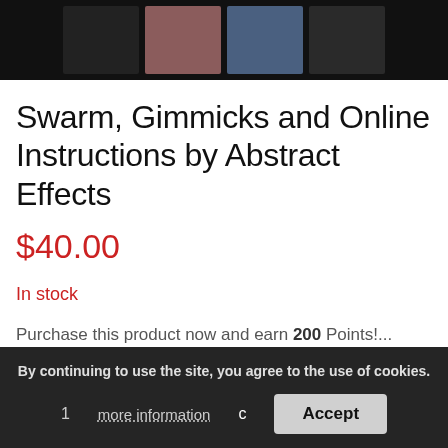[Figure (screenshot): Row of four product thumbnail images against a dark/black background at the top of the page]
Swarm, Gimmicks and Online Instructions by Abstract Effects
$40.00
In stock
Purchase this product now and earn 200 Points!...
By continuing to use the site, you agree to the use of cookies.
more information
Accept